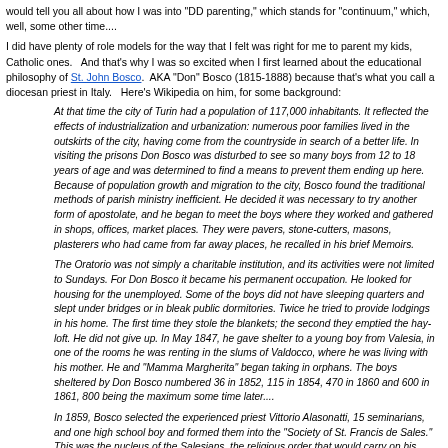would tell you all about how I was into "DD parenting," which stands for "continuum," which, well, some other time....
I did have plenty of role models for the way that I felt was right for me to parent my kids, Catholic ones.   And that's why I was so excited when I first learned about the educational philosophy of St. John Bosco.  AKA "Don" Bosco (1815-1888) because that's what you call a diocesan priest in Italy.   Here's Wikipedia on him, for some background:
At that time the city of Turin had a population of 117,000 inhabitants. It reflected the effects of industrialization and urbanization: numerous poor families lived in the outskirts of the city, having come from the countryside in search of a better life. In visiting the prisons Don Bosco was disturbed to see so many boys from 12 to 18 years of age and was determined to find a means to prevent them ending up here. Because of population growth and migration to the city, Bosco found the traditional methods of parish ministry inefficient. He decided it was necessary to try another form of apostolate, and he began to meet the boys where they worked and gathered in shops, offices, market places. They were pavers, stone-cutters, masons, plasterers who had came from far away places, he recalled in his brief Memoirs.
The Oratorio was not simply a charitable institution, and its activities were not limited to Sundays. For Don Bosco it became his permanent occupation. He looked for housing for the unemployed. Some of the boys did not have sleeping quarters and slept under bridges or in bleak public dormitories. Twice he tried to provide lodgings in his home. The first time they stole the blankets; the second they emptied the hay-loft. He did not give up. In May 1847, he gave shelter to a young boy from Valesia, in one of the rooms he was renting in the slums of Valdocco, where he was living with his mother. He and "Mamma Margherita" began taking in orphans. The boys sheltered by Don Bosco numbered 36 in 1852, 115 in 1854, 470 in 1860 and 600 in 1861, 800 being the maximum some time later....
In 1859, Bosco selected the experienced priest Vittorio Alasonatti, 15 seminarians, and one high school boy and formed them into the "Society of St. Francis de Sales." This was the nucleus of the Salesians, the religious order that would carry on his work. In 1871, he founded a group of religious sisters to do for girls what the Salesians were doing for boys. They were called the "Daughters of Mary Help of Christians." In 1876, he founded yet another group, the "Salesian Cooperators." These were mostly lay people who would work for young people like the Daughters and the Salesians, but would not join a religious order.